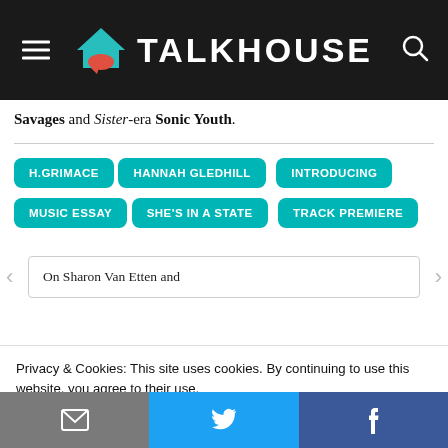TALKHOUSE
Savages and Sister-era Sonic Youth.
H.GRIMACE
HANNAH GLEDHILL
INTRODUCING
MUSIC ESSAY
SHE'S IN A STATE
TRACK PREMIERE
On Sharon Van Etten and
Privacy & Cookies: This site uses cookies. By continuing to use this website, you agree to their use. To find out more, including how to control cookies, see here: Cookie Policy